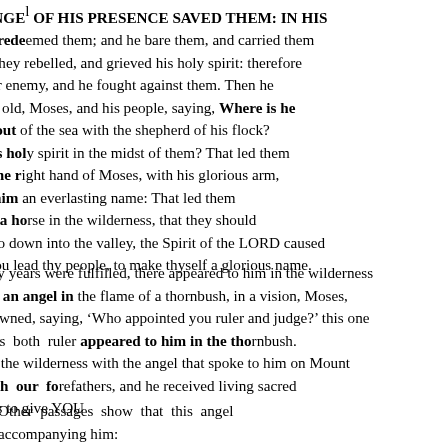afflicted, AND THE ANGEL OF HIS PRESENCE SAVED THEM: IN HIS love and in his pity he redeemed them; and he bare them, and carried them all the days of old. But they rebelled, and grieved his holy spirit: therefore he was turned to be their enemy, and he fought against them. Then he remembered the days of old, Moses, and his people, saying, Where is he that brought them up out of the sea with the shepherd of his flock? where is he that put his holy spirit in the midst of them? That led them with his glorious arm to go at the right hand of Moses, with his glorious arm, dividing the water before them, to make him an everlasting name: That led them through the depths, as a horse in the wilderness, that they should not stumble? not? As the cattle that go down into the valley, the Spirit of the LORD caused them to rest; so didst thou lead thy people, to make thyself a glorious name. Isaiah 63:8-9 ASV
“And when forty years were fulfilled, there appeared to him in the wilderness of Mount Si’nai an angel in the flame of a thornbush, in a vision, Moses, whom they disowned, saying, ‘Who appointed you ruler and judge?’ this one God sent off as both ruler and deliverer by the hand of the angel that appeared to him in the thornbush. This one led them out, after doing portents and signs in the land of Egypt and in the Red Sea and in the wilderness for 40 years. This is the Moses that said to the sons of Israel: ‘God will raise up for YOU from among YOUR brothers a prophet like me.’ This is the one that came to be in the congregation in the wilderness with the angel that spoke to him on Mount Si’nai and with our forefathers, and he received living sacred pronouncements to give YOU.
Other passages show that this angel played a key role, with others accompanying him: